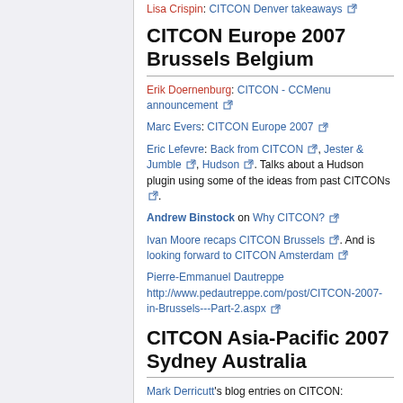Lisa Crispin: CITCON Denver takeaways
CITCON Europe 2007 Brussels Belgium
Erik Doernenburg: CITCON - CCMenu announcement
Marc Evers: CITCON Europe 2007
Eric Lefevre: Back from CITCON, Jester & Jumble, Hudson. Talks about a Hudson plugin using some of the ideas from past CITCONs.
Andrew Binstock on Why CITCON?
Ivan Moore recaps CITCON Brussels. And is looking forward to CITCON Amsterdam
Pierre-Emmanuel Dautreppe http://www.pedautreppe.com/post/CITCON-2007-in-Brussels---Part-2.aspx
CITCON Asia-Pacific 2007 Sydney Australia
Mark Derricutt's blog entries on CITCON: